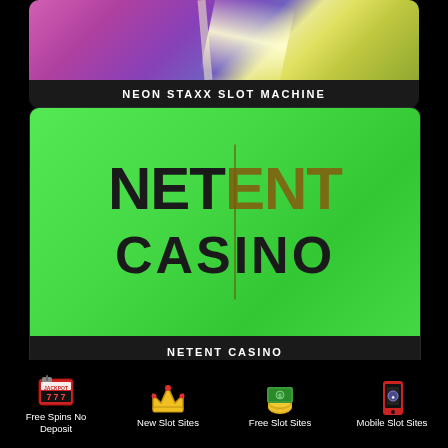[Figure (illustration): Neon Staxx slot machine image with pink/purple gradient background and light burst rays]
NEON STAXX SLOT MACHINE
[Figure (illustration): NetEnt Casino logo on bright green background. NET in black bold, ENT in olive/dark gold bold, CASINO below in large black bold letters with a vertical divider line between NET and ENT]
NETENT CASINO
[Figure (infographic): Footer navigation with four icons: slot machine jackpot icon, crown icon, money/coins icon, mobile phone with casino icon]
Free Spins No Deposit
New Slot Sites
Free Slot Sites
Mobile Slot Sites